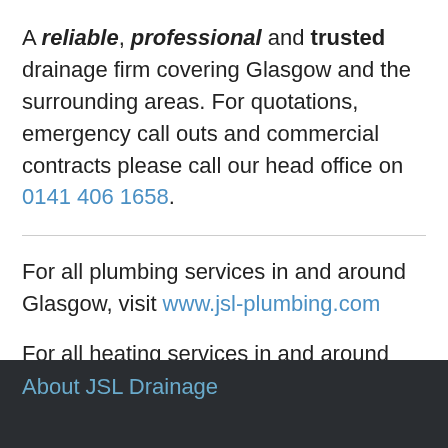A reliable, professional and trusted drainage firm covering Glasgow and the surrounding areas. For quotations, emergency call outs and commercial contracts please call our head office on 0141 406 1658.
For all plumbing services in and around Glasgow, visit www.jsl-plumbing.com
For all heating services in and around Glasgow, visit www.jsl-heating.com
About JSL Drainage